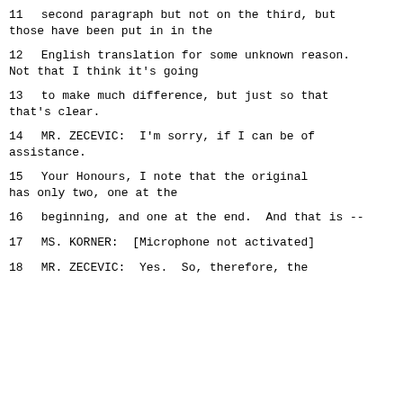11      second paragraph but not on the third, but those have been put in in the
12      English translation for some unknown reason. Not that I think it's going
13      to make much difference, but just so that that's clear.
14              MR. ZECEVIC:  I'm sorry, if I can be of assistance.
15              Your Honours, I note that the original has only two, one at the
16      beginning, and one at the end.  And that is --
17              MS. KORNER:  [Microphone not activated]
18              MR. ZECEVIC:  Yes.  So, therefore, the